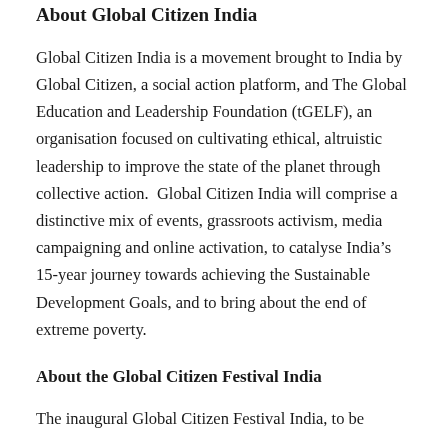About Global Citizen India
Global Citizen India is a movement brought to India by Global Citizen, a social action platform, and The Global Education and Leadership Foundation (tGELF), an organisation focused on cultivating ethical, altruistic leadership to improve the state of the planet through collective action.  Global Citizen India will comprise a distinctive mix of events, grassroots activism, media campaigning and online activation, to catalyse India’s 15-year journey towards achieving the Sustainable Development Goals, and to bring about the end of extreme poverty.
About the Global Citizen Festival India
The inaugural Global Citizen Festival India, to be